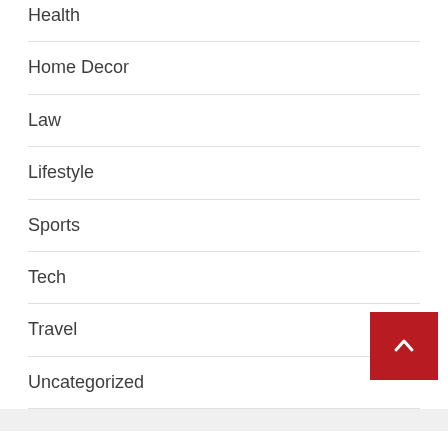Health
Home Decor
Law
Lifestyle
Sports
Tech
Travel
Uncategorized
Meta
Log in
Entries feed
Comments feed (partial)